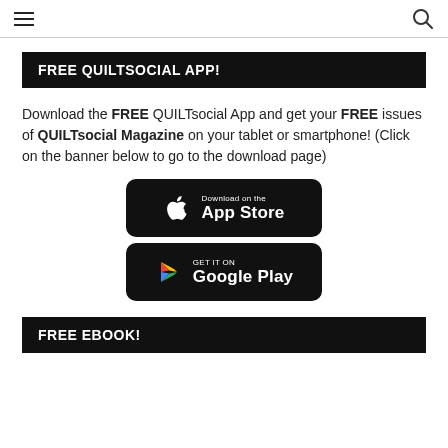≡  🔍
FREE QUILTSOCIAL APP!
Download the FREE QUILTsocial App and get your FREE issues of QUILTsocial Magazine on your tablet or smartphone! (Click on the banner below to go to the download page)
[Figure (screenshot): Download on the App Store button (black rounded rectangle with Apple logo)]
[Figure (screenshot): Get it on Google Play button (black rounded rectangle with Google Play logo)]
FREE EBOOK!